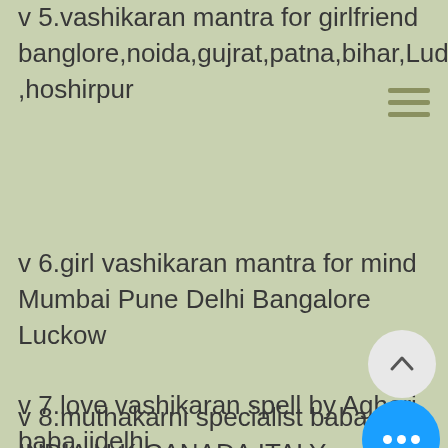v 5.vashikaran mantra for girlfriend banglore,noida,gujrat,patna,bihar,Ludhiana,hoshirpur
v 6.girl vashikaran mantra for mind Mumbai Pune Delhi Bangalore Luckow
v 7.love vashikaran spell by Aghori baba jidelhi mumbai,nashik,nagpur,pune,chennai,varanasi,lucknow,kanpur,amritsar,aurangabad
v 8.muthakarni specialist baba INDIA U.K CANADA ITALY AUSTRALIA AMERICA allahabad,banglore,mumbai,nashik,nagpur,pune,chennai,chandigarh,varanasi